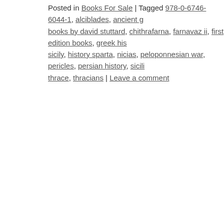Posted in Books For Sale | Tagged 978-0-6746-6044-1, alciblades, ancient g… books by david stuttard, chithrafarna, farnavaz ii, first edition books, greek his… sicily, history sparta, nicias, peloponnesian war, pericles, persian history, sicili… thrace, thracians | Leave a comment